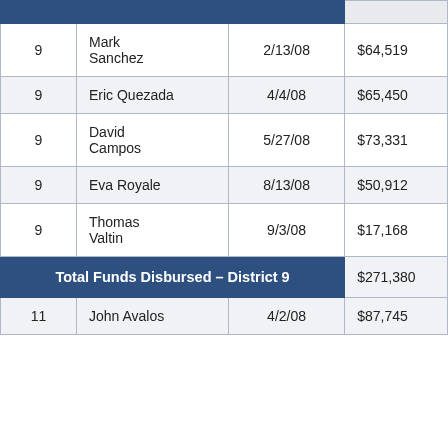| District | Name | Date | Amount |
| --- | --- | --- | --- |
| 9 | Mark Sanchez | 2/13/08 | $64,519 |
| 9 | Eric Quezada | 4/4/08 | $65,450 |
| 9 | David Campos | 5/27/08 | $73,331 |
| 9 | Eva Royale | 8/13/08 | $50,912 |
| 9 | Thomas Valtin | 9/3/08 | $17,168 |
| Total Funds Disbursed – District 9 |  |  | $271,380 |
| 11 | John Avalos | 4/2/08 | $87,745 |